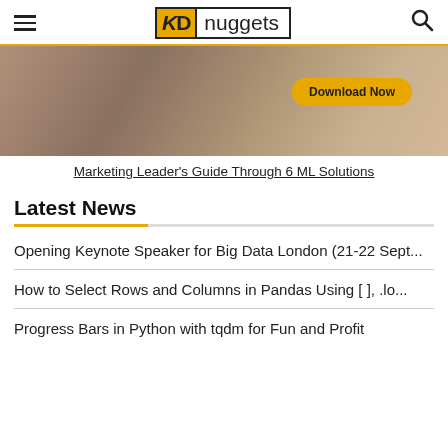KD nuggets
[Figure (photo): Hero image with a 'Download Now' button, showing a blurred background scene]
Marketing Leader's Guide Through 6 ML Solutions
Latest News
Opening Keynote Speaker for Big Data London (21-22 Sept...
How to Select Rows and Columns in Pandas Using [ ], .lo...
Progress Bars in Python with tqdm for Fun and Profit